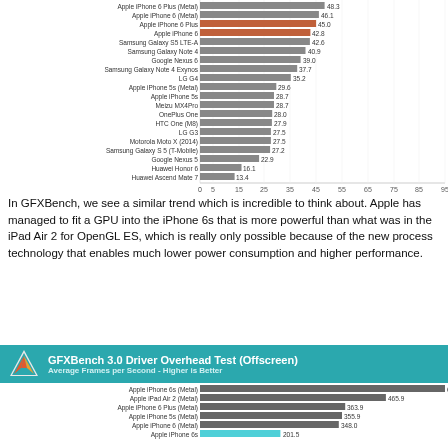[Figure (bar-chart): GFXBench (various devices)]
In GFXBench, we see a similar trend which is incredible to think about. Apple has managed to fit a GPU into the iPhone 6s that is more powerful than what was in the iPad Air 2 for OpenGL ES, which is really only possible because of the new process technology that enables much lower power consumption and higher performance.
GFXBench 3.0 Driver Overhead Test (Offscreen) - Average Frames per Second - Higher is Better
[Figure (bar-chart): GFXBench 3.0 Driver Overhead Test (Offscreen)]